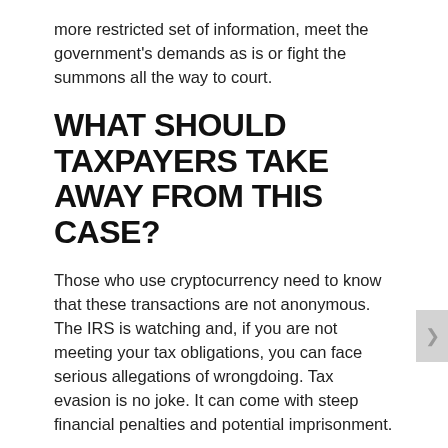more restricted set of information, meet the government's demands as is or fight the summons all the way to court.
WHAT SHOULD TAXPAYERS TAKE AWAY FROM THIS CASE?
Those who use cryptocurrency need to know that these transactions are not anonymous. The IRS is watching and, if you are not meeting your tax obligations, you can face serious allegations of wrongdoing. Tax evasion is no joke. It can come with steep financial penalties and potential imprisonment.
Taxpayers can take steps to come into compliance, the attorneys at Goldburd McCone can help.